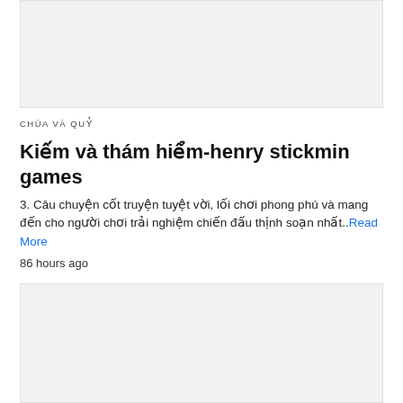[Figure (photo): Top image placeholder with light gray background]
CHÚA VÀ QUỶ
Kiếm và thám hiểm-henry stickmin games
3. Câu chuyện cốt truyện tuyệt vời, lối chơi phong phú và mang đến cho người chơi trải nghiệm chiến đấu thịnh soạn nhất..Read More
86 hours ago
[Figure (photo): Bottom image placeholder with light gray background]